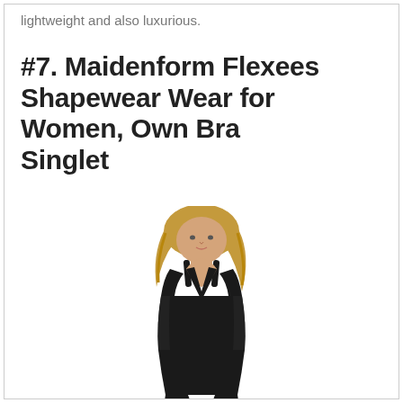lightweight and also luxurious.
#7. Maidenform Flexees Shapewear Wear for Women, Own Bra Singlet
[Figure (photo): A woman wearing a black shapewear singlet/bodysuit with a deep V-neckline. The garment is the Maidenform Flexees Own Bra Singlet. The model has blonde hair and is shown from head to upper thigh.]